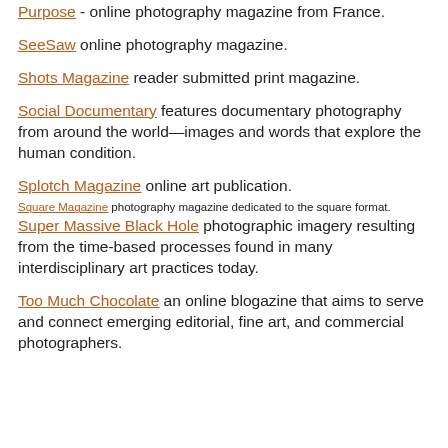Purpose - online photography magazine from France.
SeeSaw online photography magazine.
Shots Magazine reader submitted print magazine.
Social Documentary features documentary photography from around the world—images and words that explore the human condition.
Splotch Magazine online art publication.
Square Magazine photography magazine dedicated to the square format.
Super Massive Black Hole photographic imagery resulting from the time-based processes found in many interdisciplinary art practices today.
Too Much Chocolate an online blogazine that aims to serve and connect emerging editorial, fine art, and commercial photographers.